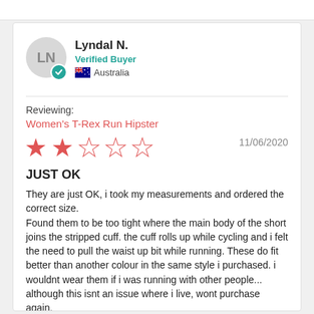Lyndal N.
Verified Buyer
Australia
Reviewing:
Women's T-Rex Run Hipster
2 out of 5 stars — 11/06/2020
JUST OK
They are just OK, i took my measurements and ordered the correct size.
Found them to be too tight where the main body of the short joins the stripped cuff. the cuff rolls up while cycling and i felt the need to pull the waist up bit while running. These do fit better than another colour in the same style i purchased. i wouldnt wear them if i was running with other people... although this isnt an issue where i live, wont purchase again.